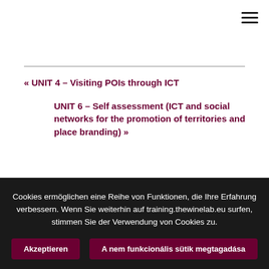≡
« UNIT 4 – Visiting POIs through ICT
UNIT 6 – Self assessment (ICT and social networks for the promotion of territories and place branding) »
Cookies ermöglichen eine Reihe von Funktionen, die Ihre Erfahrung verbessern. Wenn Sie weiterhin auf training.thewinelab.eu surfen, stimmen Sie der Verwendung von Cookies zu.
Akzeptieren | A nem funkcionális sütik megtagadása